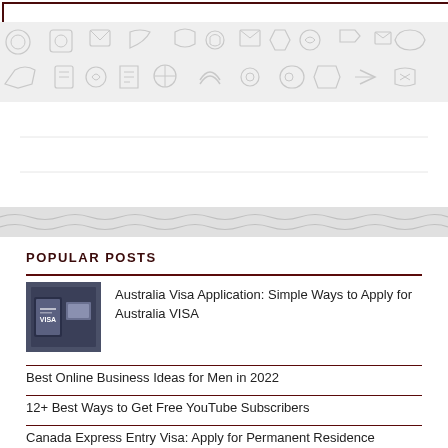[Figure (illustration): Decorative banner with light gray social media and technology icons on white/gray background]
POPULAR POSTS
[Figure (photo): Photo of a passport with VISA text visible]
Australia Visa Application: Simple Ways to Apply for Australia VISA
Best Online Business Ideas for Men in 2022
12+ Best Ways to Get Free YouTube Subscribers
Canada Express Entry Visa: Apply for Permanent Residence Through Express Entry